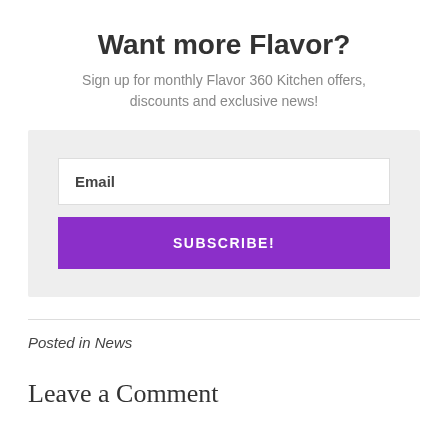Want more Flavor?
Sign up for monthly Flavor 360 Kitchen offers, discounts and exclusive news!
[Figure (other): Newsletter subscription form with an Email input field and a purple SUBSCRIBE! button on a light grey background]
Posted in News
Leave a Comment